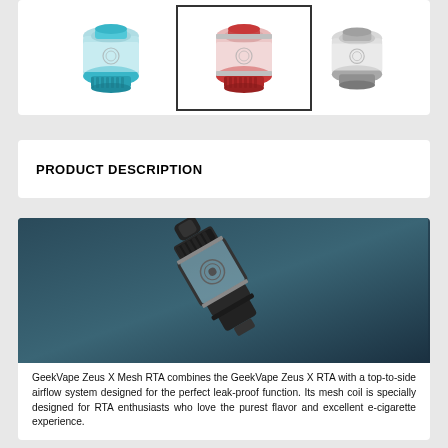[Figure (photo): Three product thumbnails of GeekVape Zeus X Mesh RTA in teal/blue, red/pink (selected, highlighted with border), and silver/chrome color variants]
PRODUCT DESCRIPTION
[Figure (photo): Close-up product photo of GeekVape Zeus X Mesh RTA vape tank in dark/gunmetal color, angled view on dark teal background]
GeekVape Zeus X Mesh RTA combines the GeekVape Zeus X RTA with a top-to-side airflow system designed for the perfect leak-proof function. Its mesh coil is specially designed for RTA enthusiasts who love the purest flavor and excellent e-cigarette experience.